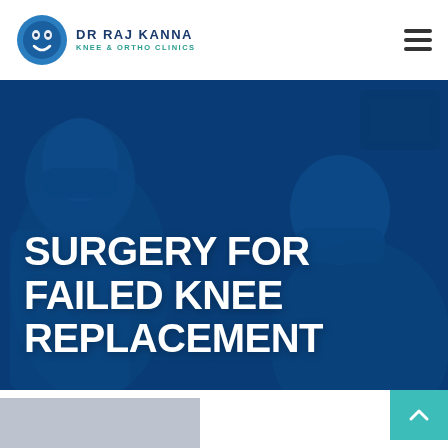Dr Raj Kanna Knee & Ortho Clinics
[Figure (photo): Surgeons in blue scrubs and masks performing a knee replacement surgery in an operating room with blue-tinted lighting. Large bold white text overlay reads SURGERY FOR FAILED KNEE REPLACEMENT.]
SURGERY FOR FAILED KNEE REPLACEMENT